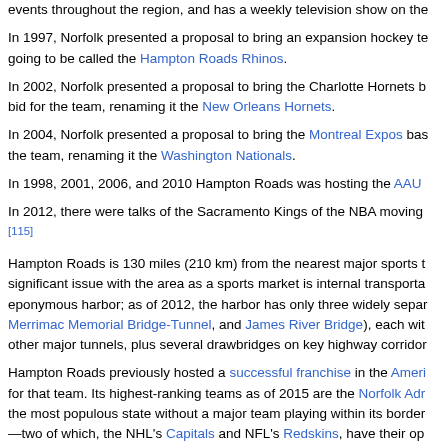events throughout the region, and has a weekly television show on the
In 1997, Norfolk presented a proposal to bring an expansion hockey team going to be called the Hampton Roads Rhinos.
In 2002, Norfolk presented a proposal to bring the Charlotte Hornets bid for the team, renaming it the New Orleans Hornets.
In 2004, Norfolk presented a proposal to bring the Montreal Expos baseball team, renaming it the Washington Nationals.
In 1998, 2001, 2006, and 2010 Hampton Roads was hosting the AAU
In 2012, there were talks of the Sacramento Kings of the NBA moving [115]
Hampton Roads is 130 miles (210 km) from the nearest major sports team. A significant issue with the area as a sports market is internal transportation across its eponymous harbor; as of 2012, the harbor has only three widely separated crossings: Merrimac Memorial Bridge-Tunnel, and James River Bridge), each with other major tunnels, plus several drawbridges on key highway corridors.
Hampton Roads previously hosted a successful franchise in the American Basketball Association for that team. Its highest-ranking teams as of 2015 are the Norfolk Admirals. Virginia is the most populous state without a major team playing within its borders—two of which, the NHL's Capitals and NFL's Redskins, have their operations. Owner Daniel Snyder, through a separate company, owns two radio stations. Hampton Roads television market is ranked 42nd in the U.S.
See also
List of tallest buildings in Norfolk, Virginia